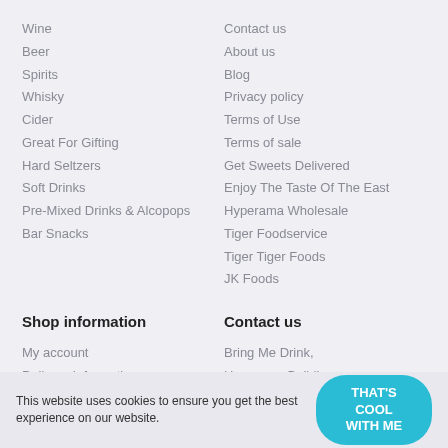Wine
Beer
Spirits
Whisky
Cider
Great For Gifting
Hard Seltzers
Soft Drinks
Pre-Mixed Drinks & Alcopops
Bar Snacks
Contact us
About us
Blog
Privacy policy
Terms of Use
Terms of sale
Get Sweets Delivered
Enjoy The Taste Of The East
Hyperama Wholesale
Tiger Foodservice
Tiger Tiger Foods
JK Foods
Shop information
Contact us
My account
Delivery Information
Alcohol Delivery
FAQ's
Bring Me Drink,
Hyperama Buildings
Bull Close Road
Nottingham
This website uses cookies to ensure you get the best experience on our website.
THAT'S COOL WITH ME